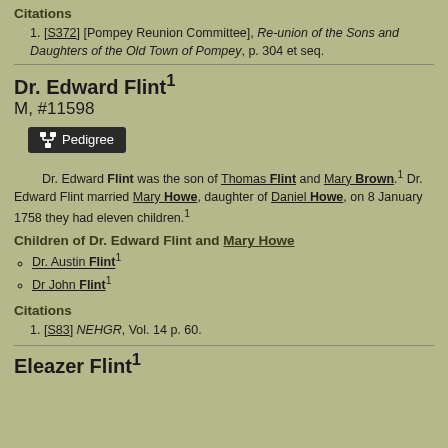Citations
1. [S372] [Pompey Reunion Committee], Re-union of the Sons and Daughters of the Old Town of Pompey, p. 304 et seq.
Dr. Edward Flint¹
M, #11598
[Figure (other): Pedigree button with icon]
Dr. Edward Flint was the son of Thomas Flint and Mary Brown.¹ Dr. Edward Flint married Mary Howe, daughter of Daniel Howe, on 8 January 1758 they had eleven children.¹
Children of Dr. Edward Flint and Mary Howe
Dr. Austin Flint¹
Dr John Flint¹
Citations
1. [S83] NEHGR, Vol. 14 p. 60.
Eleazer Flint¹